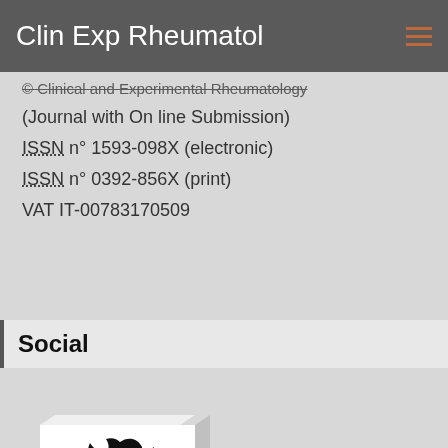Clin Exp Rheumatol
© Clinical and Experimental Rheumatology (Journal with On line Submission)
ISSN n° 1593-098X (electronic)
ISSN n° 0392-856X (print)
VAT IT-00783170509
Social
[Figure (logo): Twitter bird logo on a white rounded square block, 3D perspective view, monochrome black and white]